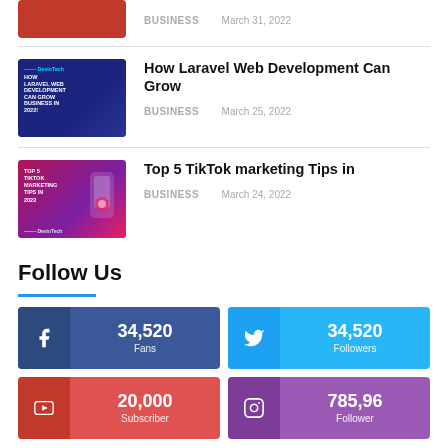[Figure (photo): Partial article thumbnail at top (red/dark image, cropped)]
BUSINESS   March 31, 2022
[Figure (photo): Laravel Web Development article thumbnail - dark blue background with white text]
How Laravel Web Development Can Grow
BUSINESS   March 25, 2022
[Figure (photo): TikTok marketing tips article thumbnail - pink/purple gradient with phone mockup]
Top 5 TikTok marketing Tips in
BUSINESS   March 24, 2022
Follow Us
[Figure (infographic): Social media follower counts: Facebook 34,520 Fans, Twitter 34,520 Followers, YouTube 20,000 Subscriber, Instagram 785,96 Follower]